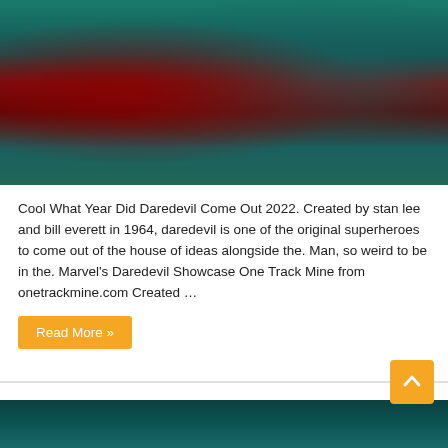[Figure (illustration): Comic book style illustration of Daredevil crouching in the rain, with teal/green sculptural elements on the left and rain streaks on a teal background to the right.]
Cool What Year Did Daredevil Come Out 2022. Created by stan lee and bill everett in 1964, daredevil is one of the original superheroes to come out of the house of ideas alongside the. Man, so weird to be in the. Marvel's Daredevil Showcase One Track Mine from onetrackmine.com Created …
Read More »
+11 Is Daredevil Marvel 2022
April 24, 2022   News   0
[Figure (photo): Dark teal/green toned photo, partial view at bottom of page.]